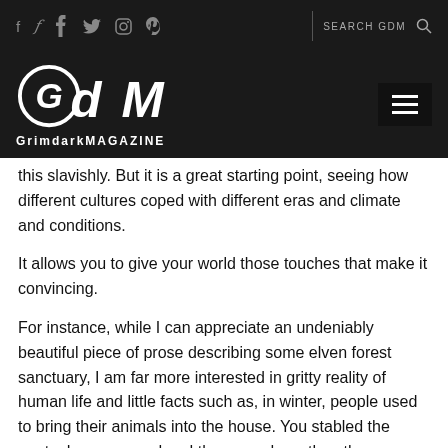f  Twitter  Instagram  Pinterest  |  SEARCH GDM  🔍
[Figure (logo): GrimdarkMAGAZINE logo — stylized GdM letters with circular G, white text on black background, with hamburger menu button on right]
this slavishly. But it is a great starting point, seeing how different cultures coped with different eras and climate and conditions.
It allows you to give your world those touches that make it convincing.
For instance, while I can appreciate an undeniably beautiful piece of prose describing some elven forest sanctuary, I am far more interested in gritty reality of human life and little facts such as, in winter, people used to bring their animals into the house. You stabled the goats down one end and the cows down the other – women had to piss with the